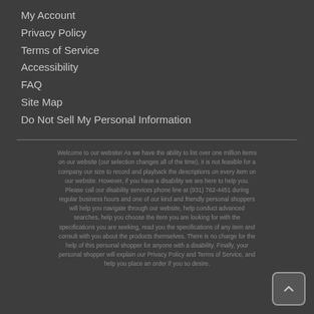My Account
Privacy Policy
Terms of Service
Accessibility
FAQ
Site Map
Do Not Sell My Personal Information
Welcome to our website! As we have the ability to list over one million items on our website (our selection changes all of the time), it is not feasible for a company our size to record and playback the descriptions on every item on our website. However, if you have a disability we are here to help you. Please call our disability services phone line at (931) 762-4451 during regular business hours and one of our kind and friendly personal shoppers will help you navigate through our website, help conduct advanced searches, help you choose the item you are looking for with the specifications you are seeking, read you the specifications of any item and consult with you about the products themselves. There is no charge for the help of this personal shopper for anyone with a disability. Finally, your personal shopper will explain our Privacy Policy and Terms of Service, and help you place an order if you so desire.